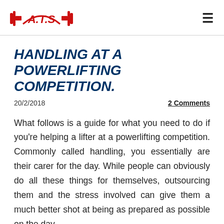A.T.S
HANDLING AT A POWERLIFTING COMPETITION.
20/2/2018
2 Comments
What follows is a guide for what you need to do if you're helping a lifter at a powerlifting competition. Commonly called handling, you essentially are their carer for the day. While people can obviously do all these things for themselves, outsourcing them and the stress involved can give them a much better shot at being as prepared as possible on the day.
So, even before the competition day you can help by